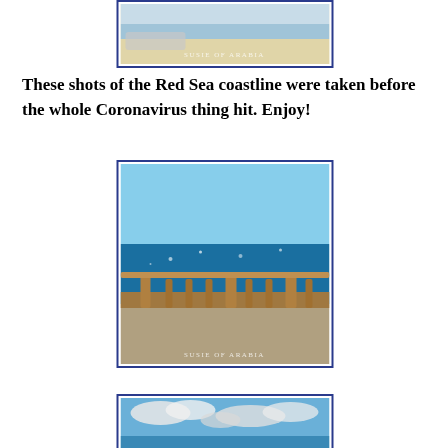[Figure (photo): Photo of a beach scene with a boat and sand, watermarked 'SUSIE OF ARABIA']
These shots of the Red Sea coastline were taken before the whole Coronavirus thing hit.  Enjoy!
[Figure (photo): Photo of Red Sea coastline with a balustrade/railing along a promenade, blue water and sky, watermarked 'SUSIE OF ARABIA']
[Figure (photo): Photo of cloudy blue sky over the Red Sea coastline, partially visible at bottom of page]